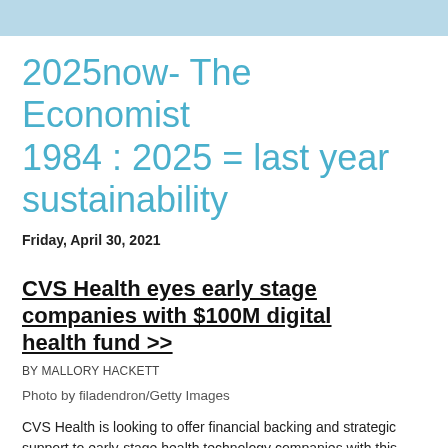2025now- The Economist 1984 : 2025 = last year sustainability
Friday, April 30, 2021
CVS Health eyes early stage companies with $100M digital health fund >>
BY MALLORY HACKETT
Photo by filadendron/Getty Images
CVS Health is looking to offer financial backing and strategic support to early-stage health technology companies with this...